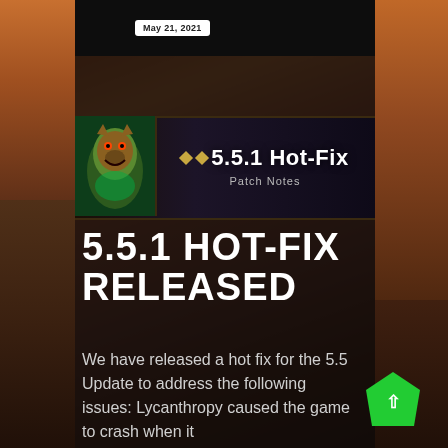May 21, 2021
[Figure (screenshot): Patch notes banner showing a fantasy character (werewolf/druid) with text '5.5.1 Hot-Fix Patch Notes' and diamond decoration]
5.5.1 HOT-FIX RELEASED
We have released a hot fix for the 5.5 Update to address the following issues: Lycanthropy caused the game to crash when it